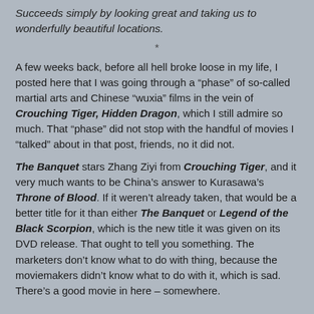Succeeds simply by looking great and taking us to wonderfully beautiful locations.
*
A few weeks back, before all hell broke loose in my life, I posted here that I was going through a “phase” of so-called martial arts and Chinese “wuxia” films in the vein of Crouching Tiger, Hidden Dragon, which I still admire so much. That “phase” did not stop with the handful of movies I “talked” about in that post, friends, no it did not.
The Banquet stars Zhang Ziyi from Crouching Tiger, and it very much wants to be China’s answer to Kurasawa’s Throne of Blood. If it weren’t already taken, that would be a better title for it than either The Banquet or Legend of the Black Scorpion, which is the new title it was given on its DVD release. That ought to tell you something. The marketers don’t know what to do with thing, because the moviemakers didn’t know what to do with it, which is sad. There’s a good movie in here – somewhere.